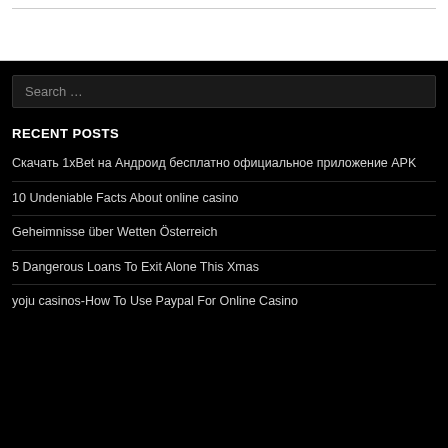Search …
RECENT POSTS
Скачать 1хBet на Андроид бесплатно официальное приложение APK
10 Undeniable Facts About online casino
Geheimnisse über Wetten Österreich
5 Dangerous Loans To Exit Alone This Xmas
yoju casinos-How To Use Paypal For Online Casino